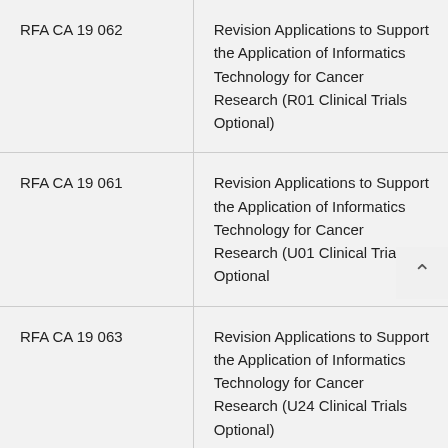| RFA CA 19 062 | Revision Applications to Support the Application of Informatics Technology for Cancer Research (R01 Clinical Trials Optional) |
| RFA CA 19 061 | Revision Applications to Support the Application of Informatics Technology for Cancer Research (U01 Clinical Trials Optional) |
| RFA CA 19 063 | Revision Applications to Support the Application of Informatics Technology for Cancer Research (U24 Clinical Trials Optional) |